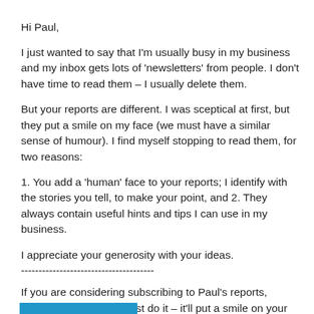Hi Paul,
I just wanted to say that I'm usually busy in my business and my inbox gets lots of 'newsletters' from people. I don't have time to read them – I usually delete them.
But your reports are different. I was sceptical at first, but they put a smile on my face (we must have a similar sense of humour). I find myself stopping to read them, for two reasons:
1. You add a 'human' face to your reports; I identify with the stories you tell, to make your point, and 2. They always contain useful hints and tips I can use in my business.
I appreciate your generosity with your ideas.
--------------------------------------
If you are considering subscribing to Paul's reports, Please don't hesitate, just do it – it'll put a smile on your face and dollars in your bank.
[Figure (other): Partial blue bar/button at bottom left of page]